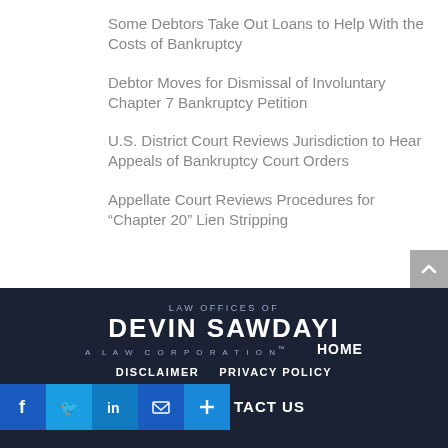Some Debtors Take Out Loans to Help With the Costs of Bankruptcy
Debtor Moves for Dismissal of Involuntary Chapter 7 Bankruptcy Petition
U.S. District Court Reviews Jurisdiction to Hear Appeals of Bankruptcy Court Orders
Appellate Court Reviews Procedures for “Chapter 20” Lien Stripping
Law Offices of Devin Sawdayi A Law Corporation | HOME | DISCLAIMER | PRIVACY POLICY | CONTACT US